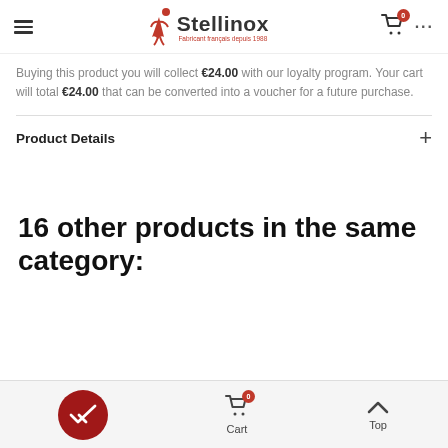Stellinox — navigation bar with hamburger menu, logo, cart icon (0), and more options
Buying this product you will collect €24.00 with our loyalty program. Your cart will total €24.00 that can be converted into a voucher for a future purchase.
Product Details +
16 other products in the same category:
Cart (0) | Top — bottom navigation bar